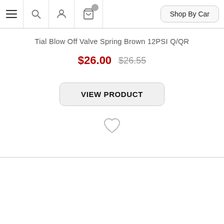Navigation bar with menu, search, account, cart icons and Shop By Car button
Tial Blow Off Valve Spring Brown 12PSI Q/QR
$26.00  $26.55
VIEW PRODUCT
[Figure (illustration): Heart/wishlist icon outline]